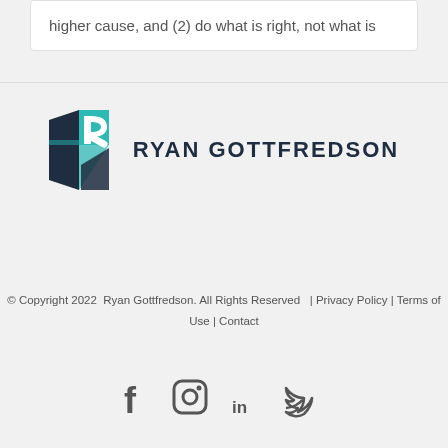higher cause, and (2) do what is right, not what is
[Figure (logo): Ryan Gottfredson logo with stylized R icon in teal and navy, followed by RYAN GOTTFREDSON text in dark navy capitals]
© Copyright 2022  Ryan Gottfredson. All Rights Reserved  |  Privacy Policy | Terms of Use | Contact
[Figure (infographic): Social media icons: Facebook, Instagram, LinkedIn, Twitter in dark gray]